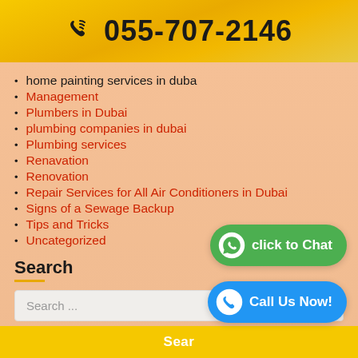📞 055-707-2146
home painting services in duba
Management
Plumbers in Dubai
plumbing companies in dubai
Plumbing services
Renavation
Renovation
Repair Services for All Air Conditioners in Dubai
Signs of a Sewage Backup
Tips and Tricks
Uncategorized
Search
Search ...
click to Chat
Call Us Now!